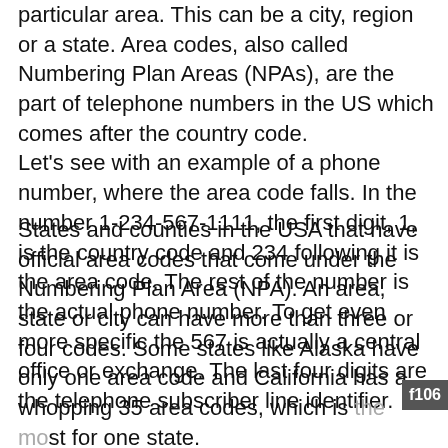particular area. This can be a city, region or a state. Area codes, also called Numbering Plan Areas (NPAs), are the part of telephone numbers in the US which comes after the country code.
Let's see with an example of a phone number, where the area code falls. In the number 1-234-567-1111, the first digit, 1, is the country code and 234 following it is the area code. The rest of the number is the actual phone number. To get even more specific the 567 is actually a central office or exchange. The last four digits are the telephone subscriber line identifier.
States and counties in the USA that have official area codes that come under the Numbering Plan Area (NPA). An area, state or city can have more than three or four codes. Some states like Alaska have only one area code and California has a whopping 35 area codes, which is the most for one state.